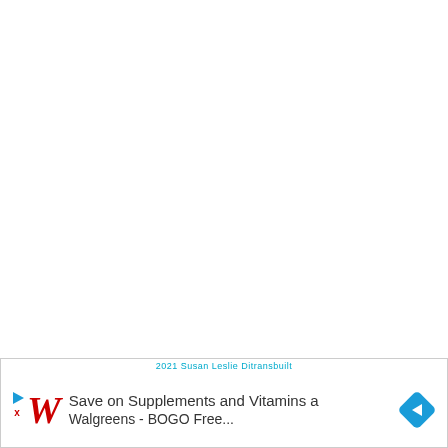[Figure (other): Advertisement banner at the bottom of the page. Shows a Walgreens ad with a stylized red cursive 'W' logo, blue triangle play button, red X close button, text 'Save on Supplements and Vitamins at Walgreens - BOGO Free', and a blue diamond-shaped navigation/arrow icon. Ad label reads '2021 Susan Leslie Ditransbuilt'.]